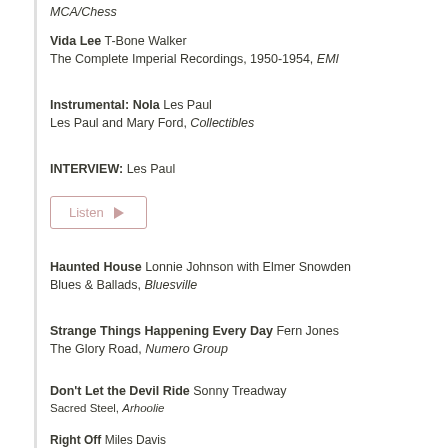MCA/Chess
Vida Lee T-Bone Walker
The Complete Imperial Recordings, 1950-1954, EMI
Instrumental: Nola Les Paul
Les Paul and Mary Ford, Collectibles
INTERVIEW: Les Paul
[Figure (other): Listen button with play triangle icon]
Haunted House Lonnie Johnson with Elmer Snowden
Blues & Ballads, Bluesville
Strange Things Happening Every Day Fern Jones
The Glory Road, Numero Group
Don't Let the Devil Ride Sonny Treadway
Sacred Steel, Arhoolie
Right Off Miles Davis
A Tribute to Jack Johnson, Columbia
HOUR TWO